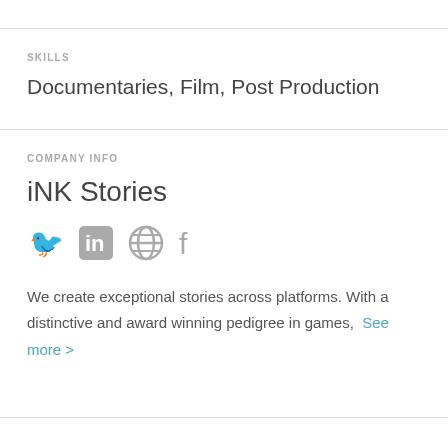SKILLS
Documentaries, Film, Post Production
COMPANY INFO
iNK Stories
[Figure (infographic): Social media icons: Twitter, LinkedIn, Globe/Website, Facebook]
We create exceptional stories across platforms. With a distinctive and award winning pedigree in games. See more >